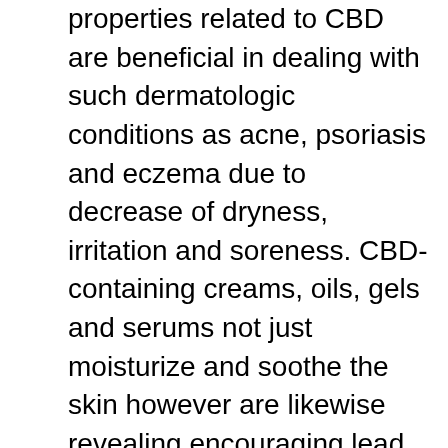properties related to CBD are beneficial in dealing with such dermatologic conditions as acne, psoriasis and eczema due to decrease of dryness, irritation and soreness. CBD-containing creams, oils, gels and serums not just moisturize and soothe the skin however are likewise revealing encouraging lead to easing discomfort triggered by particular skin conditions. CBD has shown that it puts in antioxidant activity. This could position CBD oil as a treatment that repairs skin from free radicals, which might assist to smooth wrinkles and lower breakouts and blemishes. In addition, CBD-containing products are abundant in omega-3 and omega-6 fats which enhance total skin look and provide a more younger glow. Topical CBD is thought about safe and has no known negative